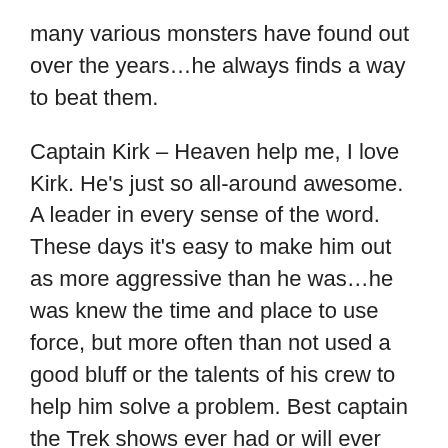many various monsters have found out over the years…he always finds a way to beat them.
Captain Kirk – Heaven help me, I love Kirk. He's just so all-around awesome. A leader in every sense of the word. These days it's easy to make him out as more aggressive than he was…he was knew the time and place to use force, but more often than not used a good bluff or the talents of his crew to help him solve a problem. Best captain the Trek shows ever had or will ever have.
Fonzie – Dear heavens, I'm warped for life since this was one of the first male role-models I saw on TV. But he was so great–a confidence, a swagger and just an all around guy. He was the